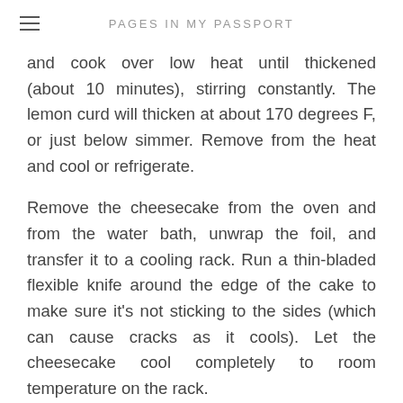PAGES IN MY PASSPORT
and cook over low heat until thickened (about 10 minutes), stirring constantly. The lemon curd will thicken at about 170 degrees F, or just below simmer. Remove from the heat and cool or refrigerate.
Remove the cheesecake from the oven and from the water bath, unwrap the foil, and transfer it to a cooling rack. Run a thin-bladed flexible knife around the edge of the cake to make sure it's not sticking to the sides (which can cause cracks as it cools). Let the cheesecake cool completely to room temperature on the rack.
Refrigerate until completely chilled, at least 5